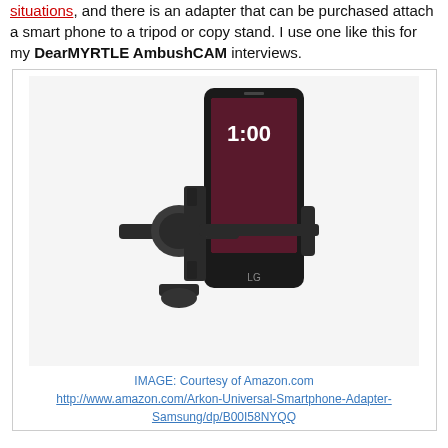situations, and there is an adapter that can be purchased attach a smart phone to a tripod or copy stand. I use one like this for my DearMYRTLE AmbushCAM interviews.
[Figure (photo): Photo of a smartphone mounted in a black universal tripod/copy stand adapter bracket (Arkon brand). An LG Android smartphone is clamped vertically in the adjustable mount.]
IMAGE: Courtesy of Amazon.com
http://www.amazon.com/Arkon-Universal-Smartphone-Adapter-Samsung/dp/B00I58NYQQ